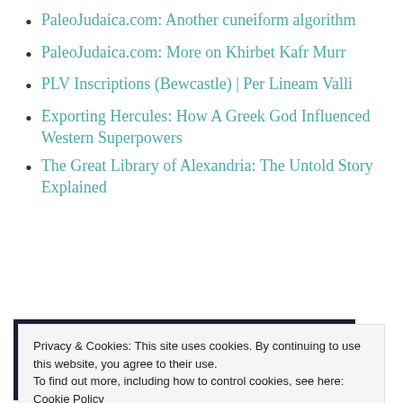PaleoJudaica.com: Another cuneiform algorithm
PaleoJudaica.com: More on Khirbet Kafr Murr
PLV Inscriptions (Bewcastle) | Per Lineam Valli
Exporting Hercules: How A Greek God Influenced Western Superpowers
The Great Library of Alexandria: The Untold Story Explained
[Figure (screenshot): Dark banner with teal accent bar and 'sensei' logo/badge on right side]
Privacy & Cookies: This site uses cookies. By continuing to use this website, you agree to their use.
To find out more, including how to control cookies, see here: Cookie Policy
Close and accept